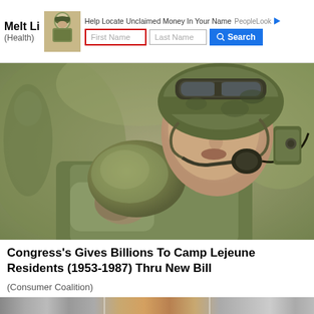Melt Li (Health)
[Figure (screenshot): Advertisement banner: Help Locate Unclaimed Money In Your Name - PeopleLooking logo with avatar, First Name input (red border), Last Name input, Search button]
[Figure (photo): A soldier in green camouflage helmet and tactical gear drinking from a military canteen/flask, wearing gloves and a communication headset]
Congress's Gives Billions To Camp Lejeune Residents (1953-1987) Thru New Bill
(Consumer Coalition)
[Figure (photo): Partial bottom strip showing the lower edge of another image/article thumbnail]